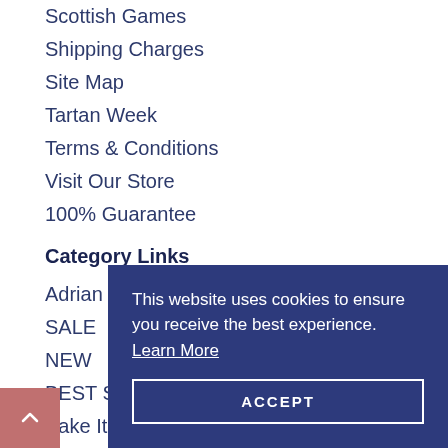Scottish Games
Shipping Charges
Site Map
Tartan Week
Terms & Conditions
Visit Our Store
100% Guarantee
Category Links
Adrian Jenkins Photography
SALE
NEW
BEST SELLERS
Bake It Scottish
Beverages
Books
Breakfast
British
Burns
Cakes
Candy
Ceramic Tiles
This website uses cookies to ensure you receive the best experience. Learn More
ACCEPT